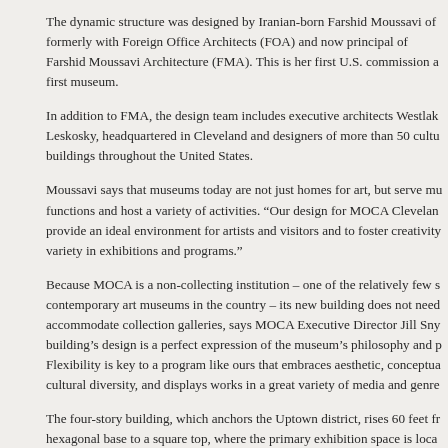The dynamic structure was designed by Iranian-born Farshid Moussavi of formerly with Foreign Office Architects (FOA) and now principal of Farshid Moussavi Architecture (FMA). This is her first U.S. commission a first museum.
In addition to FMA, the design team includes executive architects Westlak Leskosky, headquartered in Cleveland and designers of more than 50 cultu buildings throughout the United States.
Moussavi says that museums today are not just homes for art, but serve mu functions and host a variety of activities. “Our design for MOCA Clevelan provide an ideal environment for artists and visitors and to foster creativity variety in exhibitions and programs.”
Because MOCA is a non-collecting institution – one of the relatively few s contemporary art museums in the country – its new building does not need accommodate collection galleries, says MOCA Executive Director Jill Sny building’s design is a perfect expression of the museum’s philosophy and p Flexibility is key to a program like ours that embraces aesthetic, conceptua cultural diversity, and displays works in a great variety of media and genre
The four-story building, which anchors the Uptown district, rises 60 feet fr hexagonal base to a square top, where the primary exhibition space is loca four floors contain areas for either exhibitions or public programs.